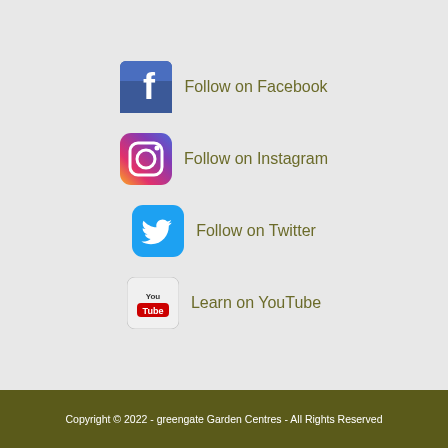Follow on Facebook
Follow on Instagram
Follow on Twitter
Learn on YouTube
Copyright © 2022 - greengate Garden Centres - All Rights Reserved